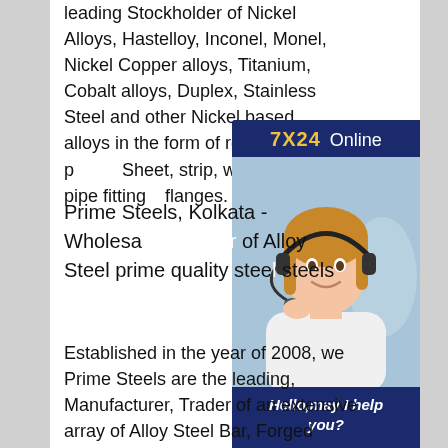leading Stockholder of Nickel Alloys, Hastelloy, Inconel, Monel, Nickel Copper alloys, Titanium, Cobalt alloys, Duplex, Stainless Steel and other Nickel based alloys in the form of round bars, plates, Sheet, strip, wire, pipe, pipe fittings, flanges.
[Figure (illustration): Chat widget with '7X24 Online' header in dark blue, photo of smiling woman with headset, 'Hello, may I help you?' message, and yellow 'Get Latest Price' button.]
Prime Steels, Kolkata - Wholesale of Alloy Steel prime quality steels
Established in the year of 2008, we Prime Steels are the leading, Manufacturer, Trader of an extensive array of Alloy Steel Bar, Forged Round Bar, Alloy Steel Bloom, Steel Rod etc. We direct all our activities to cater the expectations of customers by providing them excellent